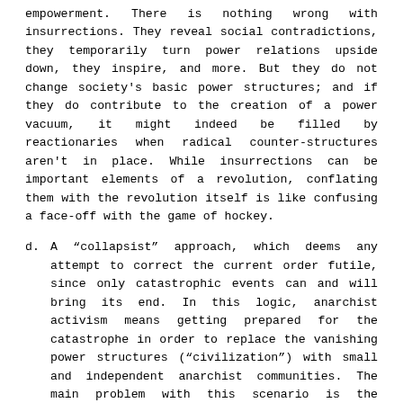empowerment. There is nothing wrong with insurrections. They reveal social contradictions, they temporarily turn power relations upside down, they inspire, and more. But they do not change society's basic power structures; and if they do contribute to the creation of a power vacuum, it might indeed be filled by reactionaries when radical counter-structures aren't in place. While insurrections can be important elements of a revolution, conflating them with the revolution itself is like confusing a face-off with the game of hockey.
d. A “collapsist” approach, which deems any attempt to correct the current order futile, since only catastrophic events can and will bring its end. In this logic, anarchist activism means getting prepared for the catastrophe in order to replace the vanishing power structures (“civilization”) with small and independent anarchist communities. The main problem with this scenario is the absence of any mechanism other than the rule of force allowing us to deal with the inevitable social conflict it implies. In other words, collapsism easily lapses into Social Darwinism. And even if it doesn’t, assuming a collapse is no basis for sound political action. It is very daring — to say the least — to advocate no longer trying to